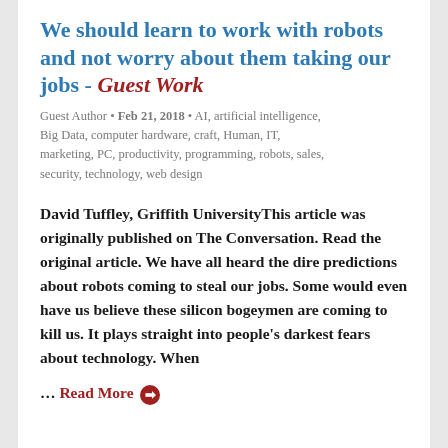We should learn to work with robots and not worry about them taking our jobs - Guest Work
Guest Author • Feb 21, 2018 • AI, artificial intelligence, Big Data, computer hardware, craft, Human, IT, marketing, PC, productivity, programming, robots, sales, security, technology, web design
David Tuffley, Griffith UniversityThis article was originally published on The Conversation. Read the original article. We have all heard the dire predictions about robots coming to steal our jobs. Some would even have us believe these silicon bogeymen are coming to kill us. It plays straight into people's darkest fears about technology. When
… Read More ➡